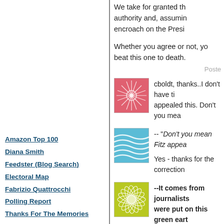We take for granted the authority and, assuming encroach on the Presi...
Whether you agree or not, yo... beat this one to death.
Poste...
[Figure (illustration): Pink/red decorative avatar with floral starburst pattern]
cboldt, thanks..I don't have ti... appealed this. Don't you mea...
[Figure (illustration): Blue wavy lines decorative avatar]
-- "Don't you mean Fitz appea...
Yes - thanks for the correction...
[Figure (illustration): Yellow-green decorative floral/sunburst avatar]
--It comes from journalists were put on this green eart...
Oh PULLEEAAASSEE. This...
Amazon Top 100
Diana Smith
Feedster (Blog Search)
Electoral Map
Fabrizio Quattrocchi
Polling Report
Thanks For The Memories
Just A Gigolo
John Kerry's Principled Positions
CIA Fact Book
Economist Countries
Google - Site
TypePad
Google